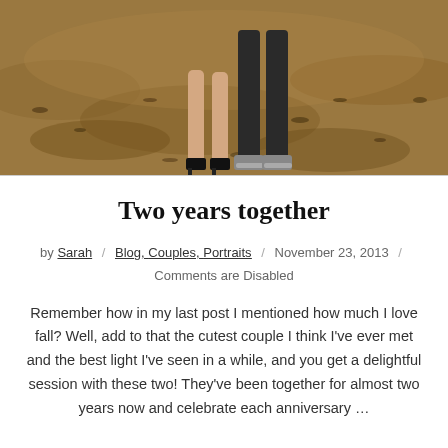[Figure (photo): Outdoor photo showing lower bodies/legs of a couple standing on a dirt/leaf-covered ground. The woman is wearing heels and the man is wearing jeans and sneakers.]
Two years together
by Sarah / Blog, Couples, Portraits / November 23, 2013 / Comments are Disabled
Remember how in my last post I mentioned how much I love fall? Well, add to that the cutest couple I think I've ever met and the best light I've seen in a while, and you get a delightful session with these two! They've been together for almost two years now and celebrate each anniversary …